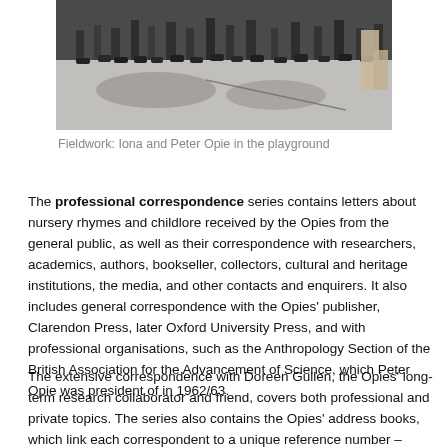[Figure (photo): Black and white photograph showing people standing in a playground, taken from a low angle showing feet and legs, with shadows on the ground. Fieldwork photo of Iona and Peter Opie in the playground.]
Fieldwork: Iona and Peter Opie in the playground
The professional correspondence series contains letters about nursery rhymes and childlore received by the Opies from the general public, as well as their correspondence with researchers, academics, authors, bookseller, collectors, cultural and heritage institutions, the media, and other contacts and enquirers. It also includes general correspondence with the Opies' publisher, Clarendon Press, later Oxford University Press, and with professional organisations, such as the Anthropology Section of the British Association for the Advancement of Science, which Peter Opie was president of in 1962/63.
The extensive correspondence with Doreen Gullen, the Opies' long-term research collaborator and friend, covers both professional and private topics. The series also contains the Opies' address books, which link each correspondent to a unique reference number – those reference numbers were then used to manage and track the enormous